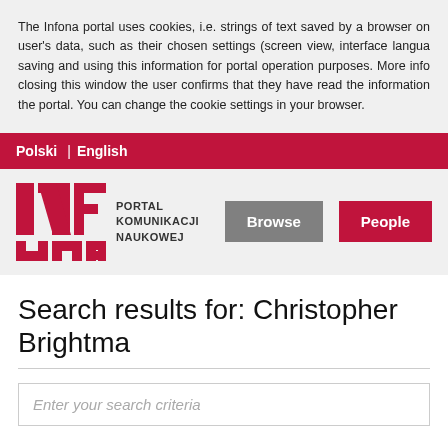The Infona portal uses cookies, i.e. strings of text saved by a browser on the user's data, such as their chosen settings (screen view, interface language), saving and using this information for portal operation purposes. More info. By closing this window the user confirms that they have read the information on the portal. You can change the cookie settings in your browser.
Polski | English
[Figure (logo): INFONA Portal Komunikacji Naukowej logo with Browse and People buttons]
Search results for: Christopher Brightma
Enter your search criteria
Items from 1 to 15 out of 15 results